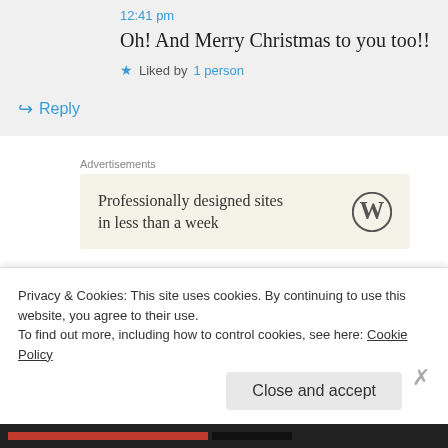12:41 pm
Oh! And Merry Christmas to you too!!
★ Liked by 1 person
↳ Reply
Advertisements
[Figure (other): WordPress advertisement banner: 'Professionally designed sites in less than a week' with WordPress logo]
chrisnelson61 on December 17, 2018 at 11:25 am
Privacy & Cookies: This site uses cookies. By continuing to use this website, you agree to their use.
To find out more, including how to control cookies, see here: Cookie Policy